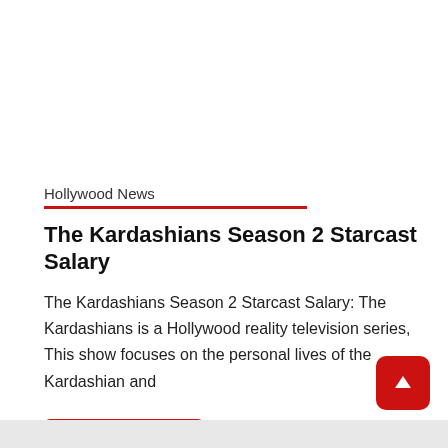Hollywood News
The Kardashians Season 2 Starcast Salary
The Kardashians Season 2 Starcast Salary: The Kardashians is a Hollywood reality television series, This show focuses on the personal lives of the Kardashian and
Read More